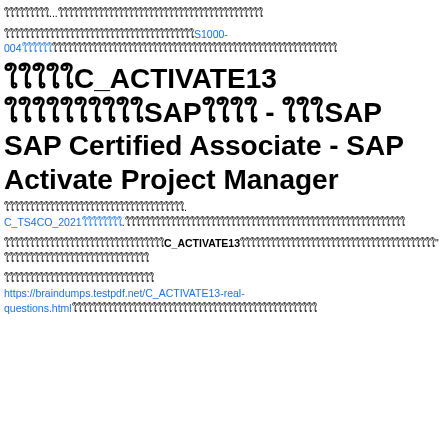ใใใใใใใใใ...ใใใใใใใใใใใใใใใใใใใใใใใใใใใใใใใใใใใใใใใใใ
ใใใใใใใใใใใใใใใใใใใใใใใใใใใใใใใใใใใใใS1000-004ใใใใใใใใใใใใใใใใใใใใใใใใใใใใใใใใใใใใใใใใใใใใใใใใใใใใใใใใใใใใใใใใใใใ
ใใใใใC_ACTIVATE13 ใใใใใใใใใใSAPใใใใ - ใใใSAP SAP Certified Associate - SAP Activate Project Manager
ใใใใใใใใใใใใใใใใใใใใใใใใใใใใใใใใใใใ. C_TS4CO_2021ใใใใใใใใ.ใใใใใใใใใใใใใใใใใใใใใใใใใใใใใใใใใใใใใใใใใใใใใใใใใใใใใใใใ
ใใใใใใใใใใใใใใใใใใใใใใใใใใใใใใใC_ACTIVATE13ใใใใใใใใใใใใใใใใใใใใใใใใใใใใใใใใใใใ" ใใใใใใใใใใใใใใใใใใใใใใใใใใใใใ
ใใใใใใใใใใใใใใใใใใใใใใใใใใใใใใ
https://braindumps.testpdf.net/C_ACTIVATE13-real-questions.htmlใใใใใใใใใใใใใใใใใใใใใใใใใใใใใใใใใใใใใใใใใใใใใใใใใ